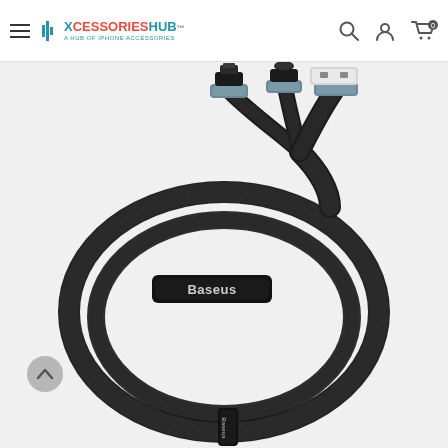XCESSORIESHUB — A HUB OF IPHONE ACCESSORIES
[Figure (photo): Baseus brand 3-in-1 USB charging cable with Lightning, USB-C, and USB-A connectors, black braided nylon cable coiled in a circle with a Baseus cable clip/velcro strap]